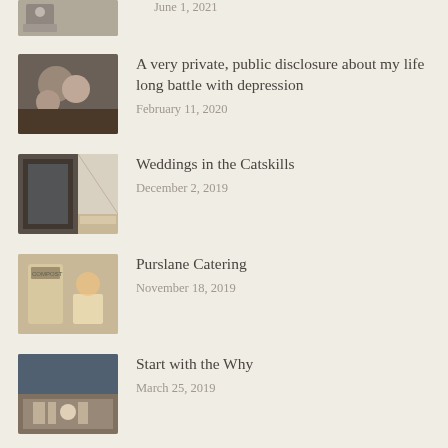June 1, 2021 (partial, top of page)
A very private, public disclosure about my life long battle with depression
February 11, 2020
Weddings in the Catskills
December 2, 2019
Purslane Catering
November 18, 2019
Start with the Why
March 25, 2019
Heathers